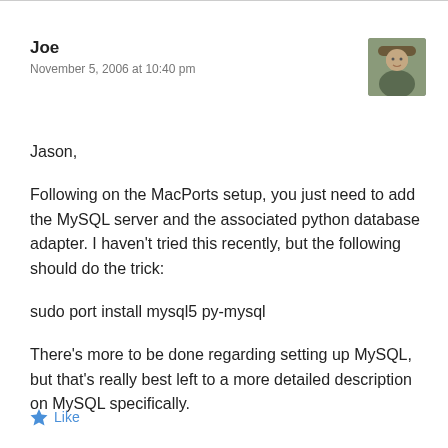Joe
November 5, 2006 at 10:40 pm
[Figure (photo): Avatar photo of a person wearing a hat, outdoors]
Jason,
Following on the MacPorts setup, you just need to add the MySQL server and the associated python database adapter. I haven't tried this recently, but the following should do the trick:
sudo port install mysql5 py-mysql
There's more to be done regarding setting up MySQL, but that's really best left to a more detailed description on MySQL specifically.
Like